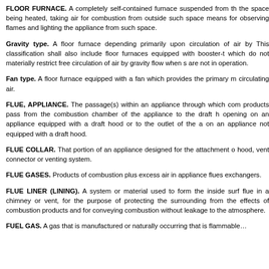FLOOR FURNACE. A completely self-contained furnace suspended from the space being heated, taking air for combustion from outside such space, means for observing flames and lighting the appliance from such space.
Gravity type. A floor furnace depending primarily upon circulation of air by gravity. This classification shall also include floor furnaces equipped with booster-type fans which do not materially restrict free circulation of air by gravity flow when such fans are not in operation.
Fan type. A floor furnace equipped with a fan which provides the primary means for circulating air.
FLUE, APPLIANCE. The passage(s) within an appliance through which combustion products pass from the combustion chamber of the appliance to the draft hood opening on an appliance equipped with a draft hood or to the outlet of the appliance on an appliance not equipped with a draft hood.
FLUE COLLAR. That portion of an appliance designed for the attachment of a draft hood, vent connector or venting system.
FLUE GASES. Products of combustion plus excess air in appliance flues and heat exchangers.
FLUE LINER (LINING). A system or material used to form the inside surface of a flue in a chimney or vent, for the purpose of protecting the surrounding structure from the effects of combustion products and for conveying combustion products without leakage to the atmosphere.
FUEL GAS. A gas that is manufactured or naturally occurring that is flammable...